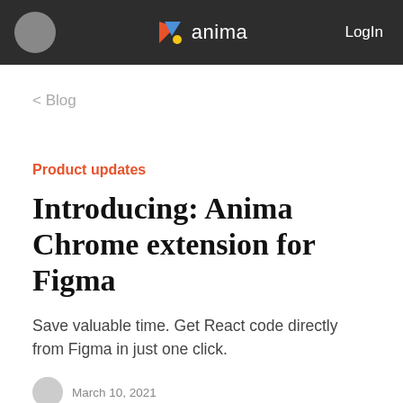anima  LogIn
< Blog
Product updates
Introducing: Anima Chrome extension for Figma
Save valuable time. Get React code directly from Figma in just one click.
March 10, 2021